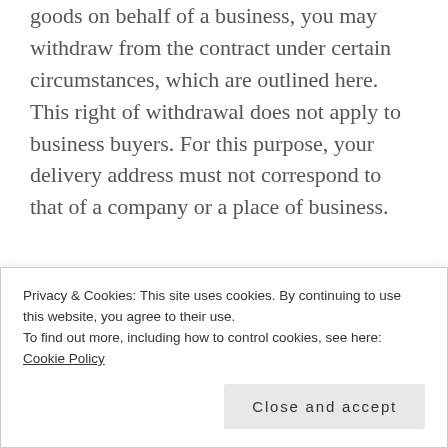goods on behalf of a business, you may withdraw from the contract under certain circumstances, which are outlined here. This right of withdrawal does not apply to business buyers. For this purpose, your delivery address must not correspond to that of a company or a place of business.
a.      You may cancel your order at any time up to the end of the fourteenth calendar day following receipt of the goods. You do not need
Privacy & Cookies: This site uses cookies. By continuing to use this website, you agree to their use.
To find out more, including how to control cookies, see here: Cookie Policy
from cancelling your order is if you have